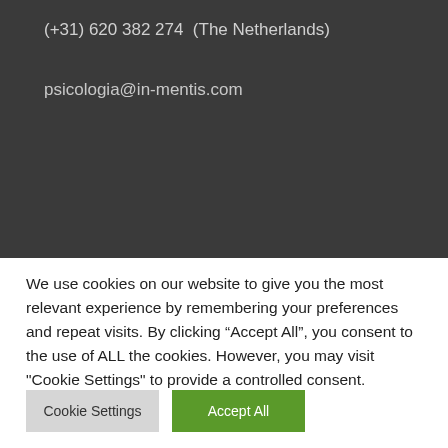(+31) 620 382 274  (The Netherlands)
psicologia@in-mentis.com
We use cookies on our website to give you the most relevant experience by remembering your preferences and repeat visits. By clicking “Accept All”, you consent to the use of ALL the cookies. However, you may visit "Cookie Settings" to provide a controlled consent.
Cookie Settings
Accept All